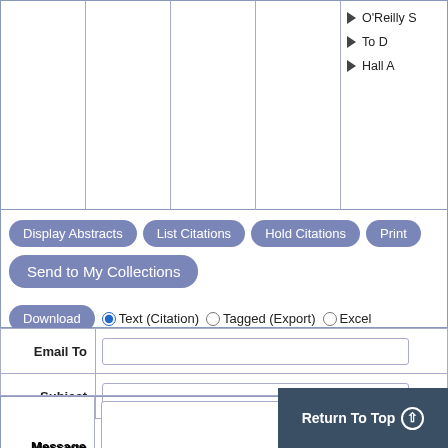|  |  |  |  | ▶ O'Reilly S
▶ To D
▶ Hall A |
[Figure (screenshot): UI buttons row: Display Abstracts, List Citations, Hold Citations, Print; Send to My Collections; Download with radio options Text (Citation), Tagged (Export), Excel]
| Email To | [text input] |
| Subject | [text input] |
| Message | [textarea] |
| Format | ○ HTML  ○ Tagged (Export)  ○ Text... |
|  | Send |